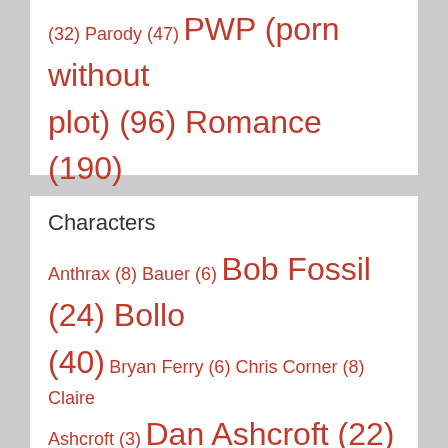(32) Parody (47) PWP (porn without plot) (96) Romance (190) Songfic (6) THEY KNOW ABOUT THIS SITE! (1) Trans Female Character (2) Transitioning (1) Vamp!Boosh (3)
Characters
Anthrax (8) Bauer (6) Bob Fossil (24) Bollo (40) Bryan Ferry (6) Chris Corner (8) Claire Ashcroft (3) Dan Ashcroft (22) Dave Brown (26) Dee Plume (22) Dennis (1) Dixon Bainbridge (20) Ebola (8) Graham (3) Howard Moon (239) Ingy Moon (1)